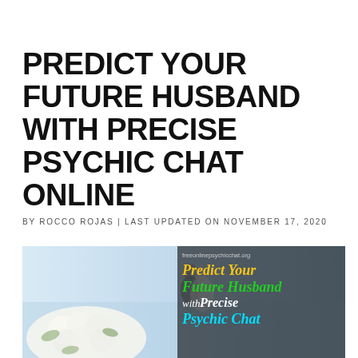PREDICT YOUR FUTURE HUSBAND WITH PRECISE PSYCHIC CHAT ONLINE
BY ROCCO ROJAS | LAST UPDATED ON NOVEMBER 17, 2020
[Figure (photo): Wedding photo showing a couple kissing in the background with a white rose bouquet in the foreground left. On the right side is a dark overlay panel with text: freeonlinepsychicchat.org, Predict Your Future Husband with Precise Psychic Chat (in gold, green, white, and cyan italic text).]